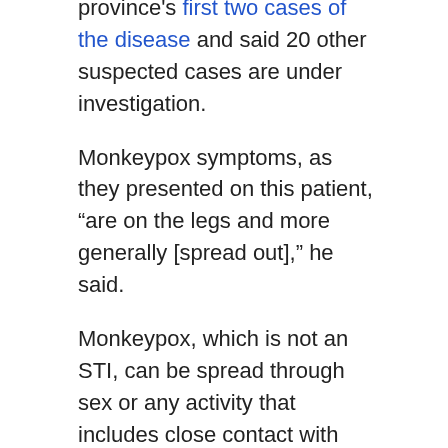province's first two cases of the disease and said 20 other suspected cases are under investigation.
Monkeypox symptoms, as they presented on this patient, “are on the legs and more generally [spread out],” he said.
Monkeypox, which is not an STI, can be spread through sex or any activity that includes close contact with others. Symptoms can also include swollen lymph nodes, rashes elsewhere on the body, as well as fever, headache, and exhaustion.
The virus enters the body through broken skin, the respiratory tract, or through the eyes, nose, or mouth.